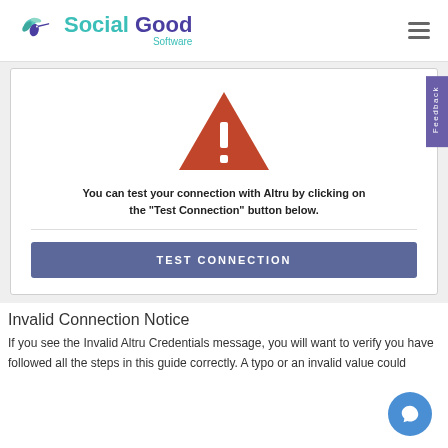Social Good Software
[Figure (screenshot): Screenshot of a web application showing a warning triangle icon with exclamation mark, text 'You can test your connection with Altru by clicking on the "Test Connection" button below.' and a steel-blue TEST CONNECTION button.]
Invalid Connection Notice
If you see the Invalid Altru Credentials message, you will want to verify you have followed all the steps in this guide correctly. A typo or an invalid value could